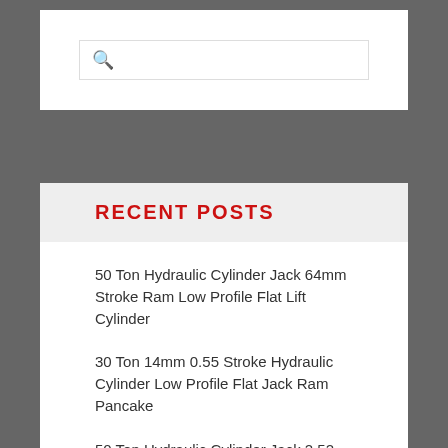[Figure (screenshot): Search input box with magnifying glass icon]
RECENT POSTS
50 Ton Hydraulic Cylinder Jack 64mm Stroke Ram Low Profile Flat Lift Cylinder
30 Ton 14mm 0.55 Stroke Hydraulic Cylinder Low Profile Flat Jack Ram Pancake
50 Ton Hydraulic Cylinder Jack 2.52 Stroke Ram Lifting Cylinder Tool Steel 64mm